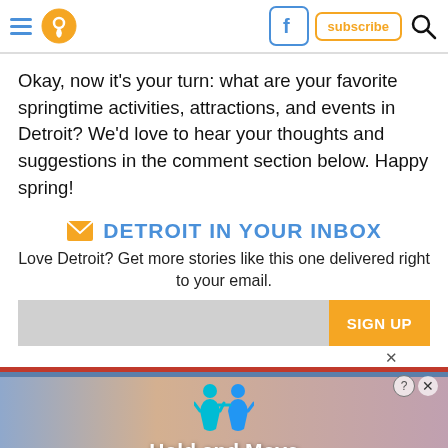Navigation header with hamburger menu, location icon, Facebook icon, subscribe button, and search icon
Okay, now it's your turn: what are your favorite springtime activities, attractions, and events in Detroit? We'd love to hear your thoughts and suggestions in the comment section below. Happy spring!
DETROIT IN YOUR INBOX
Love Detroit? Get more stories like this one delivered right to your email.
[Figure (infographic): Email signup form with gray input field and orange SIGN UP button]
[Figure (infographic): Advertisement banner with Hold and Move text and illustrated figures]
From The Web
Sponsored Links by Taboola